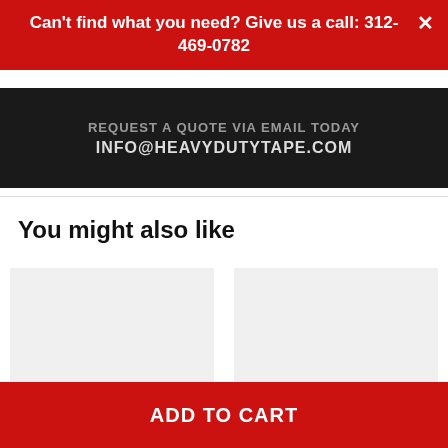Can't find what you need? Give us a call: 312-469-0782
[Figure (photo): Dark background banner image with text 'REQUEST A QUOTE VIA EMAIL TODAY' and 'INFO@HEAVYDUTYTAPE.COM']
You might also like
Mighty Line 2" Wide Solid YELLOW Angle- Pack of 25
Mighty Line 2" Wide Solid Yellow Angle With Black - Pack of 25
$38.75 (partial price visible)
ADD TO CART